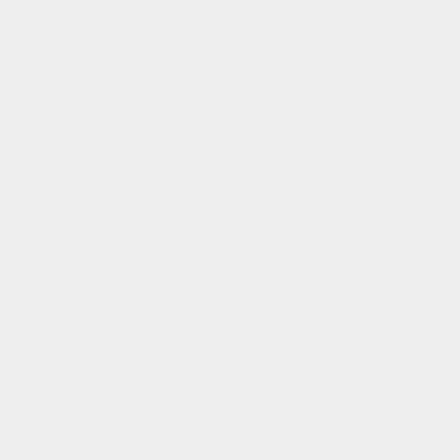# Deny speak within the child level (this means also within the child itself)
# Allow speak in parent and self
To do this we define the following ACL rules in Parent:
# [Apply to